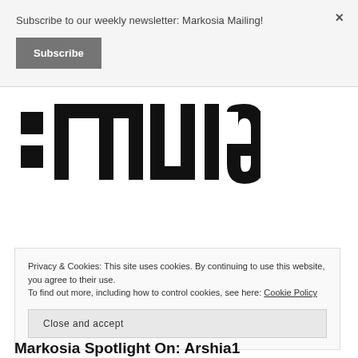Subscribe to our weekly newsletter: Markosia Mailing!
Subscribe
×
[Figure (logo): Markosia logo — partial view showing ':mulgo' style large black lettering]
Privacy & Cookies: This site uses cookies. By continuing to use this website, you agree to their use. To find out more, including how to control cookies, see here: Cookie Policy
Close and accept
Markosia Spotlight On: Arshia1